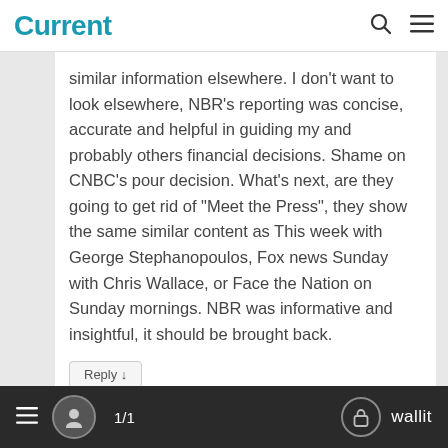Current
similar information elsewhere. I don’t want to look elsewhere, NBR’s reporting was concise, accurate and helpful in guiding my and probably others financial decisions. Shame on CNBC’s pour decision. What’s next, are they going to get rid of “Meet the Press”, they show the same similar content as This week with George Stephanopoulos, Fox news Sunday with Chris Wallace, or Face the Nation on Sunday mornings. NBR was informative and insightful, it should be brought back.
Reply ↓
1/1  wallit